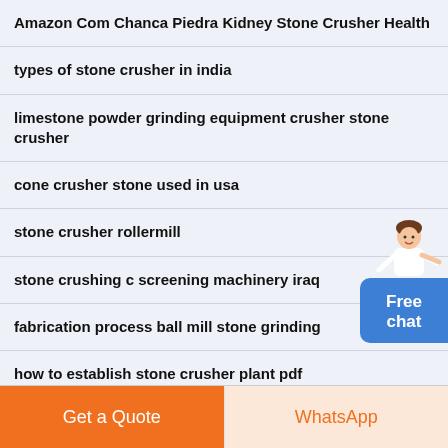Amazon Com Chanca Piedra Kidney Stone Crusher Health
types of stone crusher in india
limestone powder grinding equipment crusher stone crusher
cone crusher stone used in usa
stone crusher rollermill
stone crushing c screening machinery iraq
fabrication process ball mill stone grinding
how to establish stone crusher plant pdf
Free chat
Get a Quote
WhatsApp